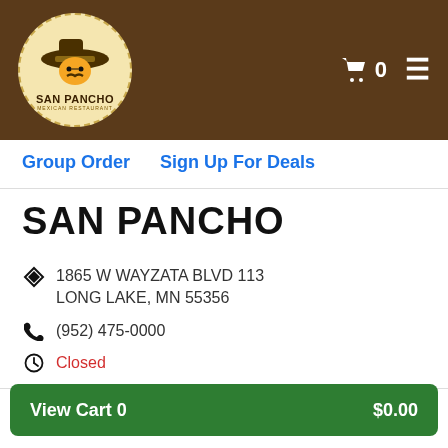[Figure (logo): San Pancho Mexican Restaurant logo — circular badge with sombrero and face illustration, text 'SAN PANCHO' and 'MEXICAN RESTAURANT']
0
Group Order   Sign Up For Deals
SAN PANCHO
1865 W WAYZATA BLVD 113 LONG LAKE, MN 55356
(952) 475-0000
Closed
95% of 38 customers recommended
Start your carryout order.
View Cart 0   $0.00